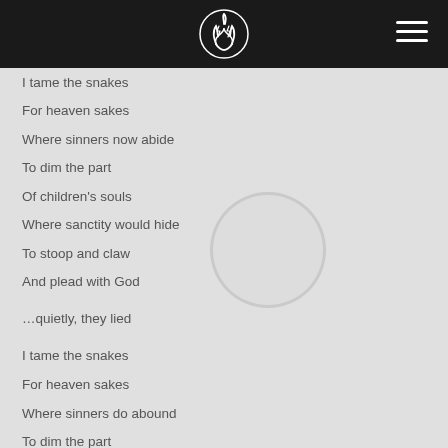[Logo and navigation bar]
I tame the snakes
For heaven sakes
Where sinners now abide
To dim the part
Of children's souls
Where sanctity would hide
To stoop and claw
And plead with God
…quietly, they lied
I tame the snakes
For heaven sakes
Where sinners do abound
To dim the part